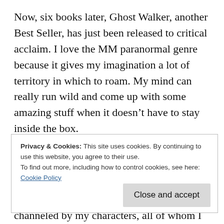Now, six books later, Ghost Walker, another Best Seller, has just been released to critical acclaim. I love the MM paranormal genre because it gives my imagination a lot of territory in which to roam. My mind can really run wild and come up with some amazing stuff when it doesn't have to stay inside the box.
My readers tell me they feel like they're a member of the pack as the stories unfold. As if they're right there in the middle of the action. Others tell
Privacy & Cookies: This site uses cookies. By continuing to use this website, you agree to their use.
To find out more, including how to control cookies, see here:
Cookie Policy
channeled by my characters, all of whom I love